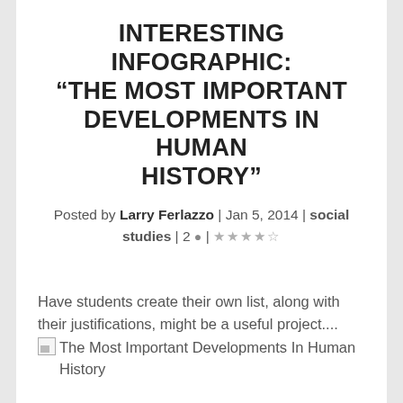INTERESTING INFOGRAPHIC: “THE MOST IMPORTANT DEVELOPMENTS IN HUMAN HISTORY”
Posted by Larry Ferlazzo | Jan 5, 2014 | social studies | 2 ● | ★★★★☆
Have students create their own list, along with their justifications, might be a useful project....
[Figure (other): Broken image placeholder for 'The Most Important Developments In Human History']
Explore more infographics like this one on the web’s largest information design community – Visually...